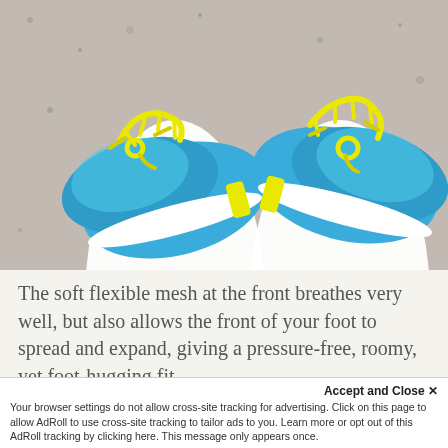[Figure (photo): Overhead view of person wearing bright blue athletic sneakers with neon yellow laces, wearing white pants, standing on a grey granite/speckled stone surface.]
The soft flexible mesh at the front breathes very well, but also allows the front of your foot to spread and expand, giving a pressure-free, roomy, yet foot-hugging fit.
Accept and Close ✕
Your browser settings do not allow cross-site tracking for advertising. Click on this page to allow AdRoll to use cross-site tracking to tailor ads to you. Learn more or opt out of this AdRoll tracking by clicking here. This message only appears once.